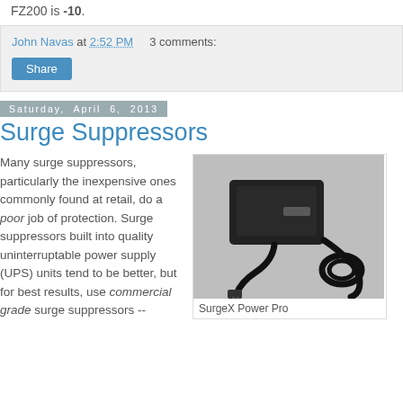FZ200 is -10.
John Navas at 2:52 PM   3 comments:
Share
Saturday, April 6, 2013
Surge Suppressors
Many surge suppressors, particularly the inexpensive ones commonly found at retail, do a poor job of protection. Surge suppressors built into quality uninterruptable power supply (UPS) units tend to be better, but for best results, use commercial grade surge suppressors --
[Figure (photo): Photo of a SurgeX Power Pro surge suppressor device, black rectangular unit with power cable attached.]
SurgeX Power Pro